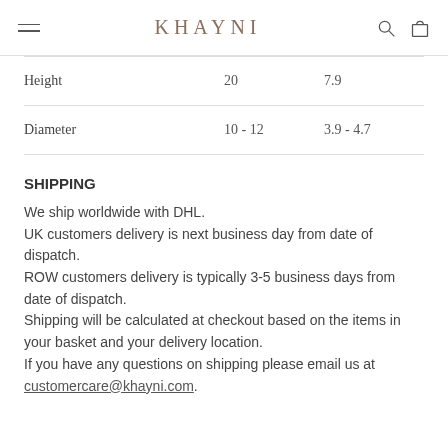KHAYNI
|  |  |  |
| --- | --- | --- |
| Height | 20 | 7.9 |
| Diameter | 10 - 12 | 3.9 - 4.7 |
SHIPPING
We ship worldwide with DHL. UK customers delivery is next business day from date of dispatch. ROW customers delivery is typically 3-5 business days from date of dispatch. Shipping will be calculated at checkout based on the items in your basket and your delivery location. If you have any questions on shipping please email us at customercare@khayni.com.